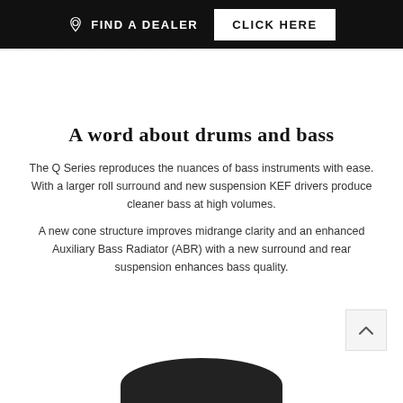FIND A DEALER  CLICK HERE
A word about drums and bass
The Q Series reproduces the nuances of bass instruments with ease. With a larger roll surround and new suspension KEF drivers produce cleaner bass at high volumes.
A new cone structure improves midrange clarity and an enhanced Auxiliary Bass Radiator (ABR) with a new surround and rear suspension enhances bass quality.
[Figure (photo): Partial view of a dark-colored speaker driver/cone at the bottom of the page]